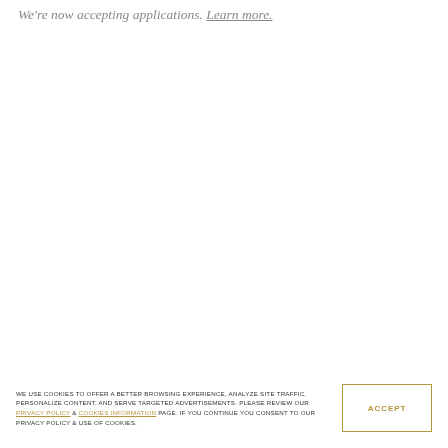We're now accepting applications. Learn more.
WE USE COOKIES TO OFFER A BETTER BROWSING EXPERIENCE, ANALYZE SITE TRAFFIC, PERSONALIZE CONTENT, AND SERVE TARGETED ADVERTISEMENTS. PLEASE REVIEW OUR PRIVACY POLICY & COOKIES INFORMATION PAGE. IF YOU CONTINUE YOU CONSENT TO OUR PRIVACY POLICY & USE OF COOKIES.
ACCEPT